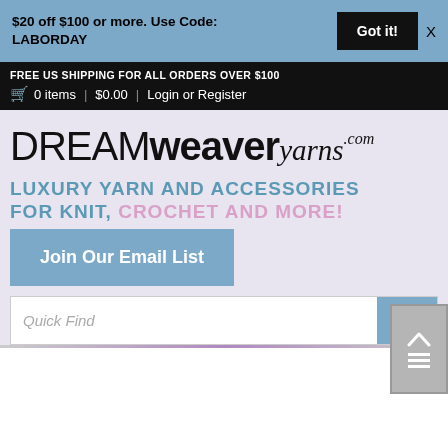$20 off $100 or more. Use Code: LABORDAY
Got it!
FREE US SHIPPING FOR ALL ORDERS OVER $100
0 items  |  $0.00  |  Login or Register
[Figure (logo): DREAMweaveryarns.com logo in black text]
LUXURY YARN AND ACCESSORIES FOR KNIT, CROCHET AND MORE!
Join Our Email List
Quick Find